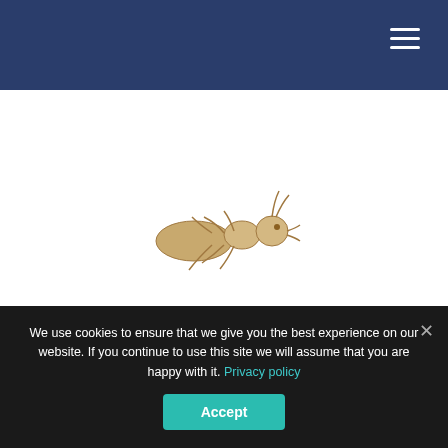Navigation header with hamburger menu
[Figure (photo): Close-up photograph of a pale/cream-colored termite (worker termite) viewed from above against a white background, showing its six legs, antennae, and segmented body]
We use cookies to ensure that we give you the best experience on our website. If you continue to use this site we will assume that you are happy with it. Privacy policy
Accept